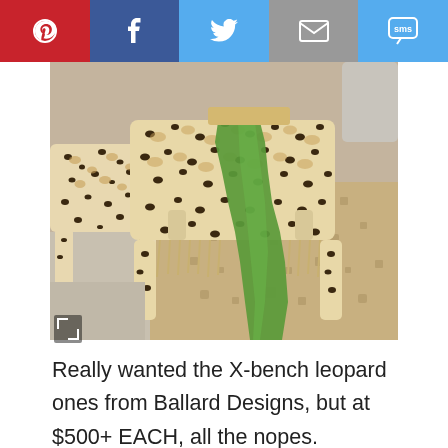[Figure (infographic): Social media share bar with Pinterest (red), Facebook (dark blue), Twitter (light blue), Email (grey), SMS (light blue) buttons]
[Figure (photo): Leopard print X-bench ottomans with a green scarf draped over one, on a patterned rug floor setting. Ballard Designs product photo.]
Really wanted the X-bench leopard ones from Ballard Designs, but at $500+ EACH, all the nopes.